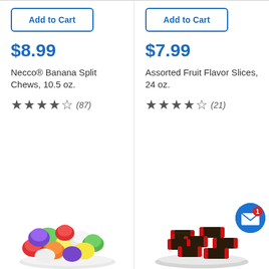Add to Cart
$8.99
Necco® Banana Split Chews, 10.5 oz.
★★★★½ (87)
Add to Cart
$7.99
Assorted Fruit Flavor Slices, 24 oz.
★★★★½ (21)
[Figure (photo): Bowl of assorted colorful gummy candy pieces (gumdrop-style)]
[Figure (photo): Bowl of Tootsie Roll candy pieces wrapped in black and red wrappers]